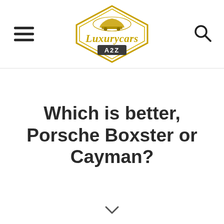[Figure (logo): Luxurycars A2Z logo — diamond/shield shape in gold with a car silhouette, script text 'Luxurycars' in gold italic, and 'A2Z' in a dark banner beneath]
Which is better, Porsche Boxster or Cayman?